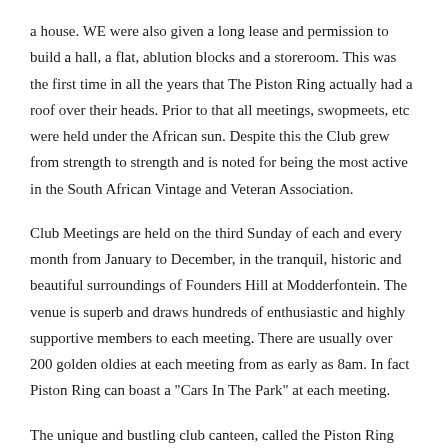a house. WE were also given a long lease and permission to build a hall, a flat, ablution blocks and a storeroom. This was the first time in all the years that The Piston Ring actually had a roof over their heads. Prior to that all meetings, swopmeets, etc were held under the African sun. Despite this the Club grew from strength to strength and is noted for being the most active in the South African Vintage and Veteran Association.
Club Meetings are held on the third Sunday of each and every month from January to December, in the tranquil, historic and beautiful surroundings of Founders Hill at Modderfontein. The venue is superb and draws hundreds of enthusiastic and highly supportive members to each meeting. There are usually over 200 golden oldies at each meeting from as early as 8am. In fact Piston Ring can boast a "Cars In The Park" at each meeting.
The unique and bustling club canteen, called the Piston Ring Filling Station , and an ever bustling Insignia unit, cater for large numbers of Members, families and friends at each club meeting.